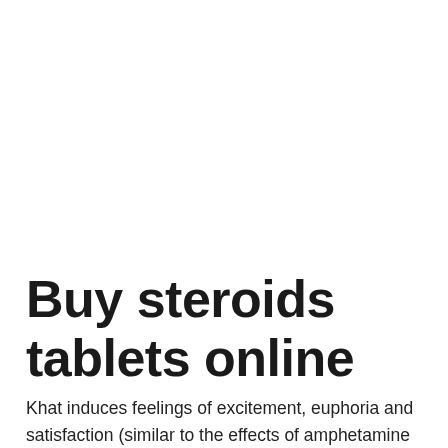Buy steroids tablets online
Khat induces feelings of excitement, euphoria and satisfaction (similar to the effects of amphetamine and cocaine, but much less potent), and increases the blood